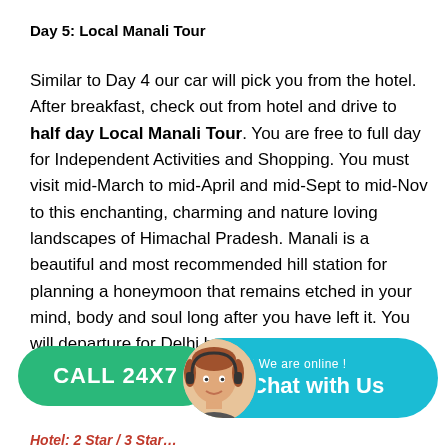Day 5: Local Manali Tour
Similar to Day 4 our car will pick you from the hotel. After breakfast, check out from hotel and drive to half day Local Manali Tour. You are free to full day for Independent Activities and Shopping. You must visit mid-March to mid-April and mid-Sept to mid-Nov to this enchanting, charming and nature loving landscapes of Himachal Pradesh. Manali is a beautiful and most recommended hill station for planning a honeymoon that remains etched in your mind, body and soul long after you have left it. You will departure for Delhi by …ng at 5…
[Figure (other): CALL 24X7 green button and Chat with Us teal widget with avatar]
Hotel: 2 Star / 3 Star…